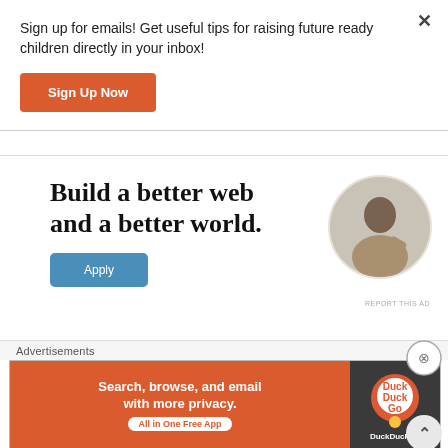Sign up for emails! Get useful tips for raising future ready children directly in your inbox!
Sign Up Now
[Figure (infographic): Mozilla ad: Build a better web and a better world. Apply button with photo of man thinking, circular crop.]
REPORT THIS AD
Advertisements
[Figure (infographic): DuckDuckGo ad: Search, browse, and email with more privacy. All in One Free App. DuckDuckGo logo on dark background.]
REPORT THIS AD